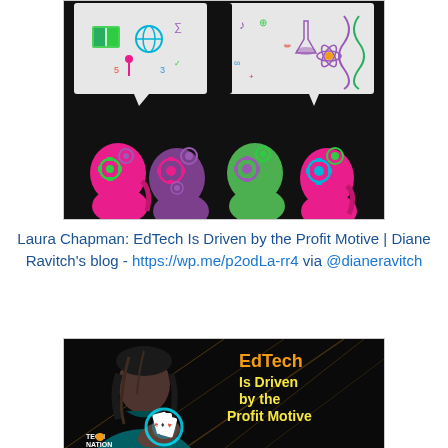[Figure (illustration): Colorful illustration of four human head silhouettes (pink, purple, green, purple) with gears inside brains, and speech bubbles filled with educational icons and symbols above them, on a dark background.]
Laura Chapman: EdTech Is Driven by the Profit Motive | Diane Ravitch's blog - https://wp.me/p2odLa-rr4 via @dianeravitch
[Figure (illustration): Illustration of a dark-skinned person in a teal shirt holding glowing playing cards, with text 'EdTech Is Driven by the Profit Motive' in orange/yellow on black background, and a 'TECH NATION' logo visible.]